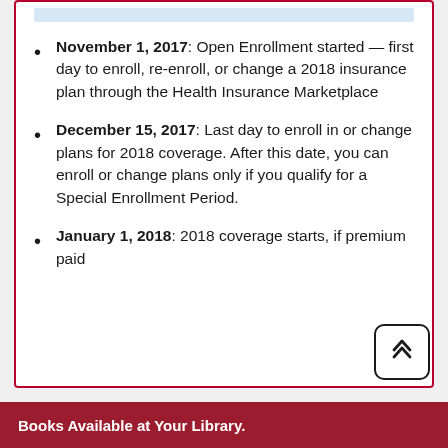November 1, 2017: Open Enrollment started — first day to enroll, re-enroll, or change a 2018 insurance plan through the Health Insurance Marketplace
December 15, 2017: Last day to enroll in or change plans for 2018 coverage. After this date, you can enroll or change plans only if you qualify for a Special Enrollment Period.
January 1, 2018: 2018 coverage starts, if premium paid
Books Available at Your Library.